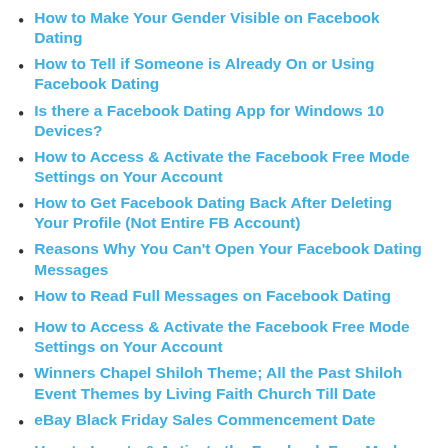How to Make Your Gender Visible on Facebook Dating
How to Tell if Someone is Already On or Using Facebook Dating
Is there a Facebook Dating App for Windows 10 Devices?
How to Access & Activate the Facebook Free Mode Settings on Your Account
How to Get Facebook Dating Back After Deleting Your Profile (Not Entire FB Account)
Reasons Why You Can't Open Your Facebook Dating Messages
How to Read Full Messages on Facebook Dating
How to Access & Activate the Facebook Free Mode Settings on Your Account
Winners Chapel Shiloh Theme; All the Past Shiloh Event Themes by Living Faith Church Till Date
eBay Black Friday Sales Commencement Date
How to Locate & Activate the Facebook Free Mode…